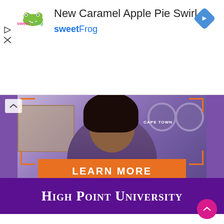[Figure (screenshot): Advertisement banner for sweetFrog featuring logo, navigation icon, play and close icons]
New Caramel Apple Pie Swirl
sweetFrog
[Figure (photo): Photo of smiling woman with dark curly hair in purple-toned office setting with clocks on the wall, CAPE TOWN text visible. Orange bracket decorations frame the photo. Orange LEARN MORE button overlaid. Purple strip at bottom with High Point University text.]
LEARN MORE
HIGH POINT UNIVERSITY